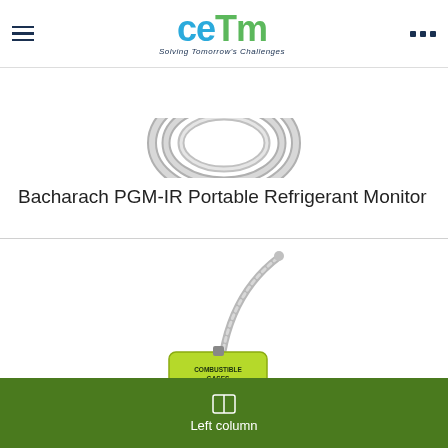CETM - Solving Tomorrow's Challenges
[Figure (photo): Partial view of a coiled stainless steel flexible hose/cable product against white background]
Bacharach PGM-IR Portable Refrigerant Monitor
[Figure (photo): A yellow/lime-green handheld combustible gas detector with a flexible stainless steel probe/wand, labeled 'COMBUSTIBLE GASES']
Left column